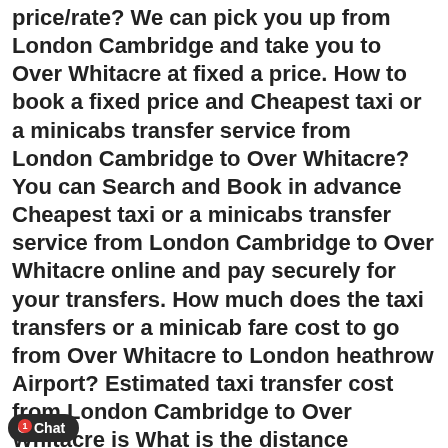price/rate? We can pick you up from London Cambridge and take you to Over Whitacre at fixed a price. How to book a fixed price and Cheapest taxi or a minicabs transfer service from London Cambridge to Over Whitacre? You can Search and Book in advance Cheapest taxi or a minicabs transfer service from London Cambridge to Over Whitacre online and pay securely for your transfers. How much does the taxi transfers or a minicab fare cost to go from Over Whitacre to London heathrow Airport? Estimated taxi transfer cost from London Cambridge to Over Whitacre is What is the distance between London Cambridge and Over Whitacre when travelling by taxi, minicab or driving from London Cambridge to Over Whitacre? Estimated distance between from London Cambridge to Over Whitacre is 86.62 miles What is the journey time or how long does take to travel from London Cambridge to Over Whitacre? Estimated journey time from London Cambridge to Over Whitacre is 108 minutes